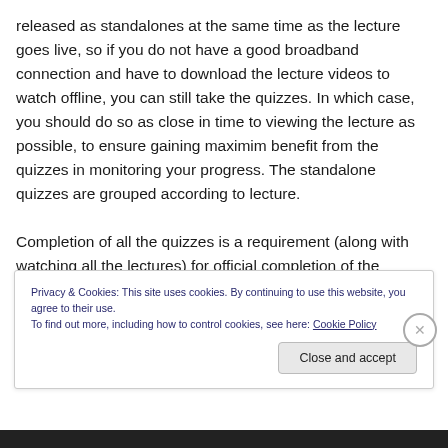released as standalones at the same time as the lecture goes live, so if you do not have a good broadband connection and have to download the lecture videos to watch offline, you can still take the quizzes. In which case, you should do so as close in time to viewing the lecture as possible, to ensure gaining maximim benefit from the quizzes in monitoring your progress. The standalone quizzes are grouped according to lecture.
Completion of all the quizzes is a requirement (along with watching all the lectures) for official completion of the
Privacy & Cookies: This site uses cookies. By continuing to use this website, you agree to their use.
To find out more, including how to control cookies, see here: Cookie Policy
Close and accept